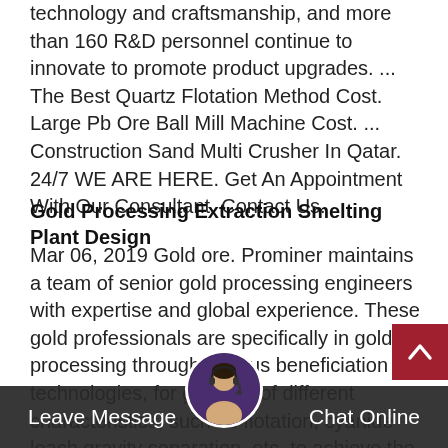technology and craftsmanship, and more than 160 R&D personnel continue to innovate to promote product upgrades. ... The Best Quartz Flotation Method Cost. Large Pb Ore Ball Mill Machine Cost. ... Construction Sand Multi Crusher In Qatar. 24/7 WE ARE HERE. Get An Appointment With Our Consultant. Contact Us.
Gold Processing Extraction Smelting Plant Design
Mar 06, 2019 Gold ore. Prominer maintains a team of senior gold processing engineers with expertise and global experience. These gold professionals are specifically in gold processing through various beneficiation technologies, for gold ore of different characteristics, such as flotation, cyanide leach gravity separation, etc. to achieve the processing plant of optimized and cost-efficient process designs.
Leave Message
Chat Online